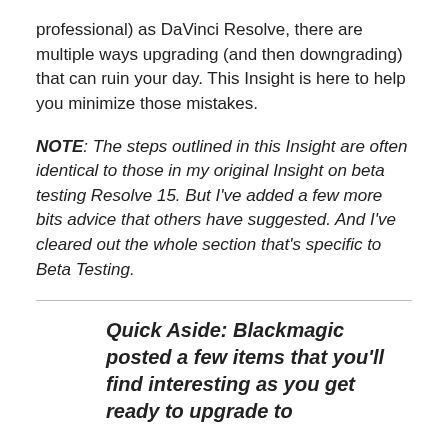professional) as DaVinci Resolve, there are multiple ways upgrading (and then downgrading) that can ruin your day. This Insight is here to help you minimize those mistakes.
NOTE: The steps outlined in this Insight are often identical to those in my original Insight on beta testing Resolve 15. But I've added a few more bits advice that others have suggested. And I've cleared out the whole section that's specific to Beta Testing.
Quick Aside: Blackmagic posted a few items that you'll find interesting as you get ready to upgrade to